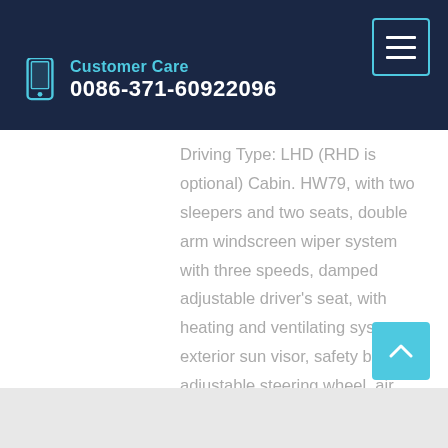Customer Care 0086-371-60922096
Driving Type: LHD (RHD is optional) Cabin. HW79, with two sleepers and two seats, double arm windscreen wiper system with three speeds, damped adjustable driver's seat, with heating and ventilating system, exterior sun visor, safety belts, adjustable steering wheel, air horn, air conditioner, with transverse stabilizer, with four piont ...
Learn More